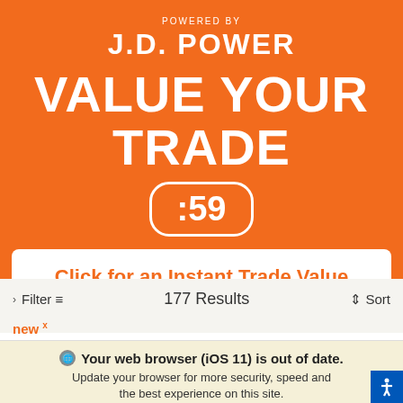POWERED BY
J.D. POWER
VALUE YOUR TRADE
:59
Click for an Instant Trade Value
Filter  177 Results  Sort
new x
Your web browser (iOS 11) is out of date. Update your browser for more security, speed and the best experience on this site.
Update browser
Ignore